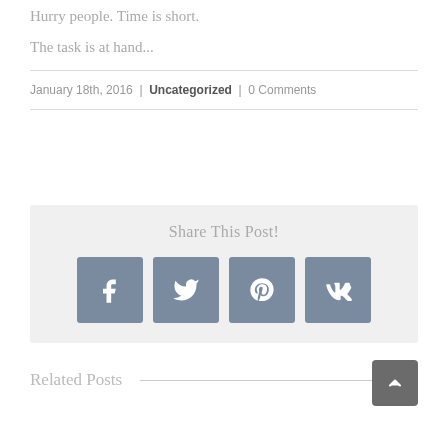Hurry people. Time is short.
The task is at hand...
January 18th, 2016  |  Uncategorized  |  0 Comments
[Figure (infographic): Share This Post section with four social media icons: Facebook, Twitter, Pinterest, VK]
Related Posts